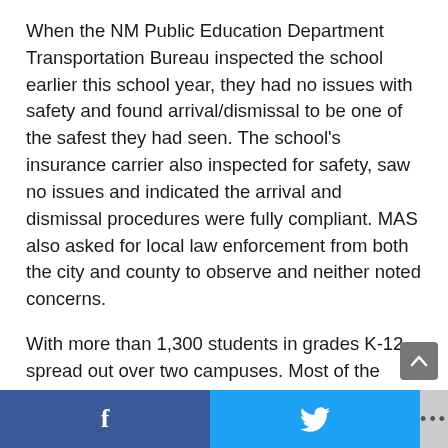When the NM Public Education Department Transportation Bureau inspected the school earlier this school year, they had no issues with safety and found arrival/dismissal to be one of the safest they had seen. The school's insurance carrier also inspected for safety, saw no issues and indicated the arrival and dismissal procedures were fully compliant. MAS also asked for local law enforcement from both the city and county to observe and neither noted concerns.
With more than 1,300 students in grades K-12 spread out over two campuses. Most of the neighbors love